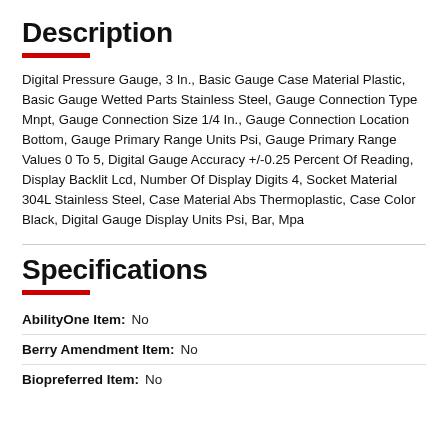Description
Digital Pressure Gauge, 3 In., Basic Gauge Case Material Plastic, Basic Gauge Wetted Parts Stainless Steel, Gauge Connection Type Mnpt, Gauge Connection Size 1/4 In., Gauge Connection Location Bottom, Gauge Primary Range Units Psi, Gauge Primary Range Values 0 To 5, Digital Gauge Accuracy +/-0.25 Percent Of Reading, Display Backlit Lcd, Number Of Display Digits 4, Socket Material 304L Stainless Steel, Case Material Abs Thermoplastic, Case Color Black, Digital Gauge Display Units Psi, Bar, Mpa
Specifications
| Attribute | Value |
| --- | --- |
| AbilityOne Item: | No |
| Berry Amendment Item: | No |
| Biopreferred Item: | No |